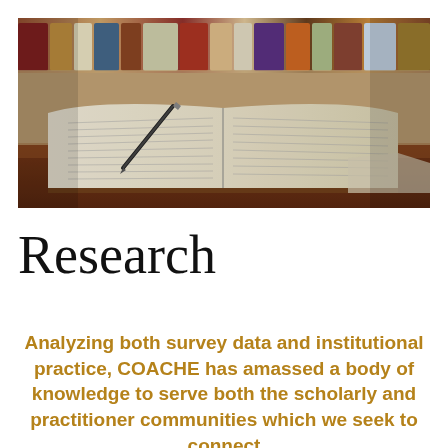[Figure (photo): Photo of open books with a pen lying across the pages, with bookshelves blurred in the background, warm brownish tones]
Research
Analyzing both survey data and institutional practice, COACHE has amassed a body of knowledge to serve both the scholarly and practitioner communities which we seek to connect